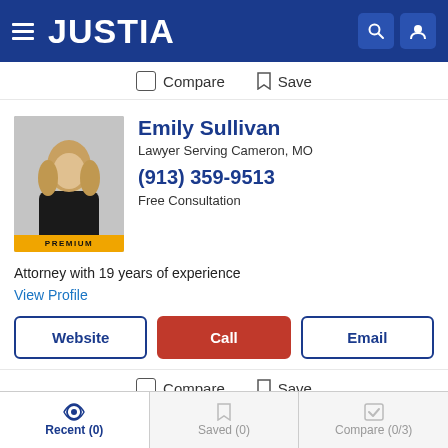JUSTIA
Compare  Save
[Figure (photo): Headshot of Emily Sullivan, a female attorney with blonde hair wearing a black outfit, with a PREMIUM badge at the bottom of the photo]
Emily Sullivan
Lawyer Serving Cameron, MO
(913) 359-9513
Free Consultation
Attorney with 19 years of experience
View Profile
Website   Call   Email
Compare  Save
Recent (0)   Saved (0)   Compare (0/3)